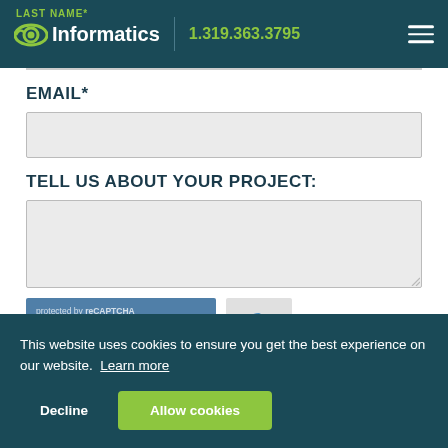LAST NAME* | Informatics | 1.319.363.3795
EMAIL*
TELL US ABOUT YOUR PROJECT:
This website uses cookies to ensure you get the best experience on our website. Learn more
Decline
Allow cookies